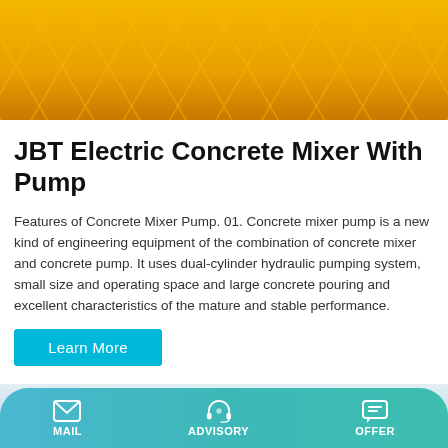[Figure (photo): Top portion of a yellow concrete mixer with pump machine on a yellow/orange diamond-plate floor background]
JBT Electric Concrete Mixer With Pump
Features of Concrete Mixer Pump. 01. Concrete mixer pump is a new kind of engineering equipment of the combination of concrete mixer and concrete pump. It uses dual-cylinder hydraulic pumping system, small size and operating space and large concrete pouring and excellent characteristics of the mature and stable performance.
Learn More
[Figure (photo): Bottom portion showing another concrete pump machine against a light blue gradient background]
MAIL | ADVISORY | OFFER